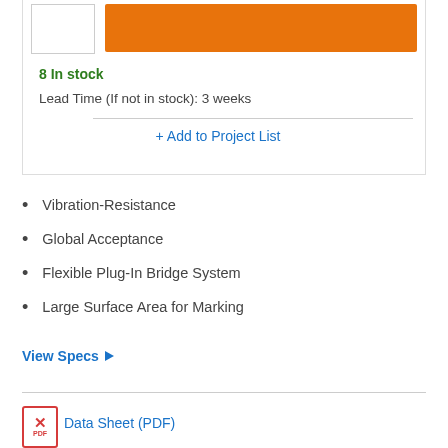[Figure (other): Product thumbnail image placeholder and orange add-to-cart button]
8 In stock
Lead Time (If not in stock): 3 weeks
+ Add to Project List
Vibration-Resistance
Global Acceptance
Flexible Plug-In Bridge System
Large Surface Area for Marking
View Specs ▶
[Figure (other): PDF icon with red border showing acrobat/PDF symbol and PDF label]
Data Sheet (PDF)